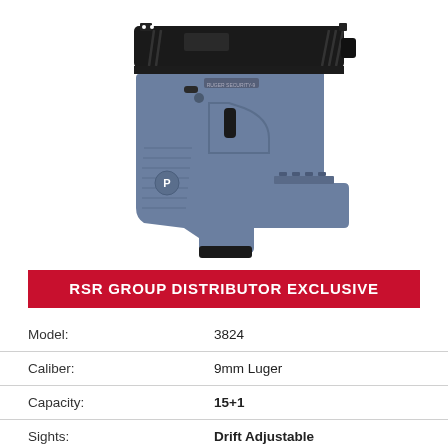[Figure (photo): Ruger Security-9 pistol with gray frame and black slide, shown in profile facing right]
RSR GROUP DISTRIBUTOR EXCLUSIVE
| Attribute | Value |
| --- | --- |
| Model: | 3824 |
| Caliber: | 9mm Luger |
| Capacity: | 15+1 |
| Sights: | Drift Adjustable |
| Manual Safety: | No |